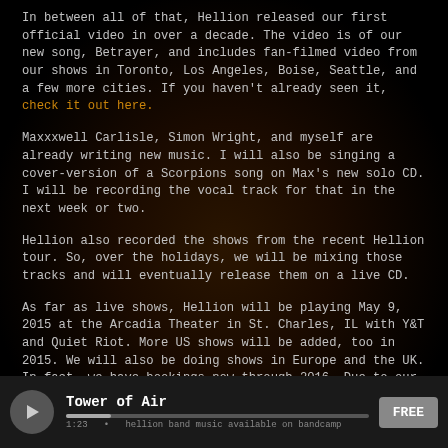In between all of that, Hellion released our first official video in over a decade. The video is of our new song, Betrayer, and includes fan-filmed video from our shows in Toronto, Los Angeles, Boise, Seattle, and a few more cities. If you haven't already seen it, check it out here.
Maxxxwell Carlisle, Simon Wright, and myself are already writing new music. I will also be singing a cover-version of a Scorpions song on Max's new solo CD. I will be recording the vocal track for that in the next week or two.
Hellion also recorded the shows from the recent Hellion tour. So, over the holidays, we will be mixing those tracks and will eventually release them on a live CD.
As far as live shows, Hellion will be playing May 9, 2015 at the Arcadia Theater in St. Charles, IL with Y&T and Quiet Riot. More US shows will be added, too in 2015. We will also be doing shows in Europe and the UK. In fact, we have bookings now through 2016. Due to our
[Figure (other): Media player bar at bottom showing play button, track title 'Tower of Air', progress bar, and FREE button]
Tower of Air
FREE